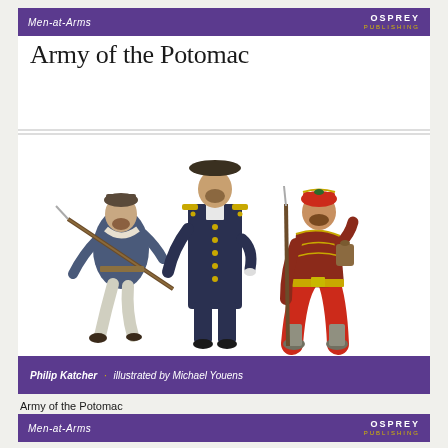Men-at-Arms | OSPREY PUBLISHING
Army of the Potomac
[Figure (illustration): Three Civil War era soldiers in uniform: left figure in blue uniform running with a rifle, center figure in dark blue officer coat with gold buttons, right figure in red trousers and zouave-style uniform holding a rifle]
Philip Katcher · illustrated by Michael Youens
Army of the Potomac
Men at Arms
Men-at-Arms | OSPREY PUBLISHING